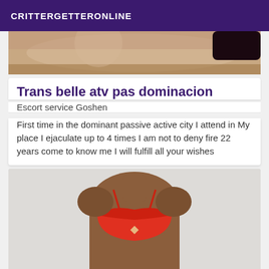CRITTERGETTERONLINE
[Figure (photo): Cropped photo showing lower torso of a person in dark underwear, skin visible]
Trans belle atv pas dominacion
Escort service Goshen
First time in the dominant passive active city I attend in My place I ejaculate up to 4 times I am not to deny fire 22 years come to know me I will fulfill all your wishes
[Figure (photo): Photo of a person wearing a red lingerie bra, torso visible, light background]